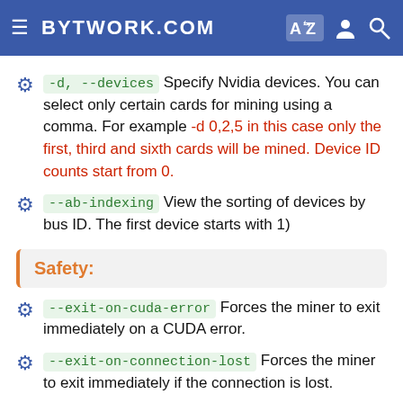BYTWORK.COM
-d, --devices  Specify Nvidia devices. You can select only certain cards for mining using a comma. For example -d 0,2,5 in this case only the first, third and sixth cards will be mined. Device ID counts start from 0.
--ab-indexing  View the sorting of devices by bus ID. The first device starts with 1)
Safety:
--exit-on-cuda-error  Forces the miner to exit immediately on a CUDA error.
--exit-on-connection-lost  Forces the miner to exit immediately if the connection is lost.